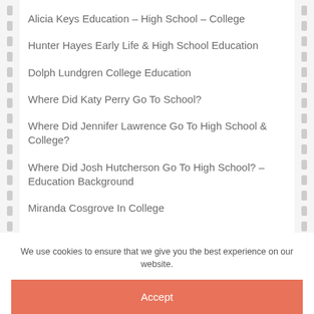Alicia Keys Education – High School – College
Hunter Hayes Early Life & High School Education
Dolph Lundgren College Education
Where Did Katy Perry Go To School?
Where Did Jennifer Lawrence Go To High School & College?
Where Did Josh Hutcherson Go To High School? – Education Background
Miranda Cosgrove In College
We use cookies to ensure that we give you the best experience on our website.
Accept